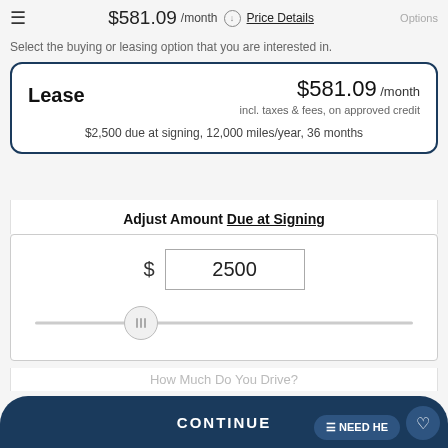$581.09 /month  Price Details  Options
Select the buying or leasing option that you are interested in.
Lease  $581.09 /month  incl. taxes & fees, on approved credit  $2,500 due at signing, 12,000 miles/year, 36 months
Adjust Amount Due at Signing
$ 2500
How Much Do You Drive?
CONTINUE